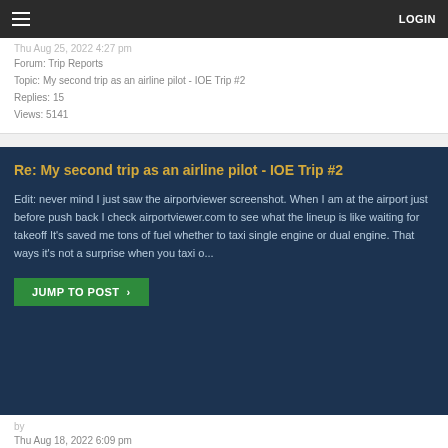LOGIN
Thu Aug 25, 2022 4:27 pm
Forum: Trip Reports
Topic: My second trip as an airline pilot - IOE Trip #2
Replies: 15
Views: 5141
Re: My second trip as an airline pilot - IOE Trip #2
Edit: never mind I just saw the airportviewer screenshot. When I am at the airport just before push back I check airportviewer.com to see what the lineup is like waiting for takeoff It's saved me tons of fuel whether to taxi single engine or dual engine. That ways it's not a surprise when you taxi o...
JUMP TO POST ›
by
Thu Aug 18, 2022 6:09 pm
Forum: Technical/Operations
Topic: Autobrake question: MAX vs. RTO, and performance (and pax)
Replies: 18
Views: 1777
Re: Autobrake question: MAX vs. RTO, and performance (and pax)
I do warn the pax before landing in BUR/SNA that it's not going to b...